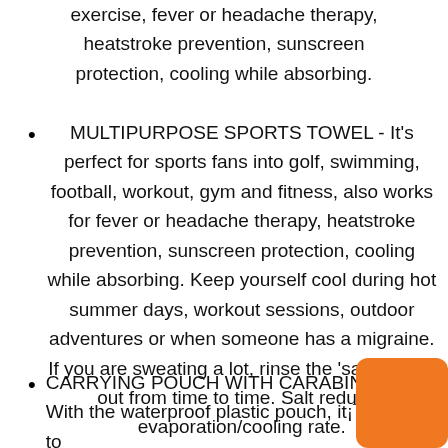exercise, fever or headache therapy, heatstroke prevention, sunscreen protection, cooling while absorbing.
MULTIPURPOSE SPORTS TOWEL - It's perfect for sports fans into golf, swimming, football, workout, gym and fitness, also works for fever or headache therapy, heatstroke prevention, sunscreen protection, cooling while absorbing. Keep yourself cool during hot summer days, workout sessions, outdoor adventures or when someone has a migraine. If you are sweating a lot, rinse the 'salty water' out from time to time. Salt reduces evaporation/cooling rate.
CARRYING POUCH WITH CARABINER CL... With the waterproof plastic pouch, it¡¯s easy to carry...